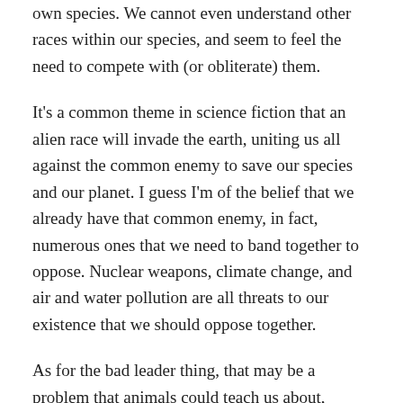own species. We cannot even understand other races within our species, and seem to feel the need to compete with (or obliterate) them.
It's a common theme in science fiction that an alien race will invade the earth, uniting us all against the common enemy to save our species and our planet. I guess I'm of the belief that we already have that common enemy, in fact, numerous ones that we need to band together to oppose. Nuclear weapons, climate change, and air and water pollution are all threats to our existence that we should oppose together.
As for the bad leader thing, that may be a problem that animals could teach us about, although their systems are not necessarily applicable to us. Wolves will gang up against a bad leader, birds will shun or ignore bad leaders, and in the US we can just agree not to